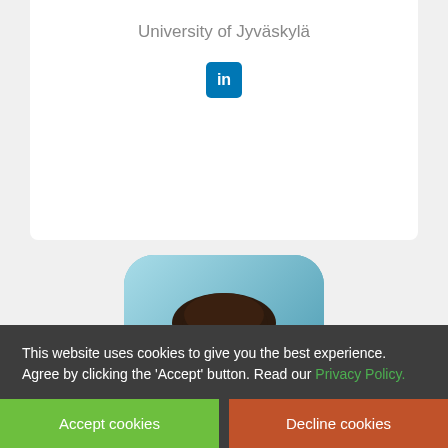University of Jyväskylä
[Figure (logo): LinkedIn logo button — blue rounded square with white 'in' text]
[Figure (photo): Partial profile photo of a young man with dark hair, smiling, with a blue sky background, displayed in a rounded rectangle card]
[Figure (infographic): Popup notification with orange double-chevron left arrow icon and text 'Awesome content to your inbox' with a close X button]
Awesome content to your inbox
This website uses cookies to give you the best experience. Agree by clicking the 'Accept' button. Read our Privacy Policy.
Accept cookies
Decline cookies